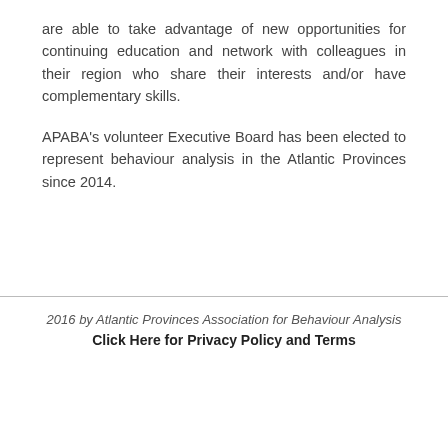are able to take advantage of new opportunities for continuing education and network with colleagues in their region who share their interests and/or have complementary skills.
APABA's volunteer Executive Board has been elected to represent behaviour analysis in the Atlantic Provinces since 2014.
2016 by Atlantic Provinces Association for Behaviour Analysis
Click Here for Privacy Policy and Terms